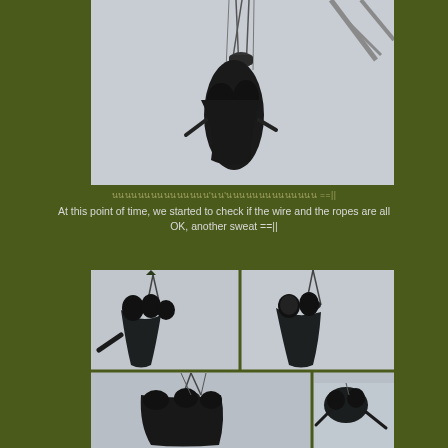[Figure (photo): People suspended in the air on wires/ropes attached to a rigging structure, viewed from below against a pale sky. A metal tower/structure is visible at the right edge.]
นนนนนนนนนนนนนนน'นน'นนนนนนนนนนนนนน ==|| At this point of time, we started to check if the wire and the ropes are all OK, another sweat ==||
[Figure (photo): Collage of four photos showing people doing a wire/stunt act, suspended in the air from ropes and rigging, viewed from various angles against a pale sky.]